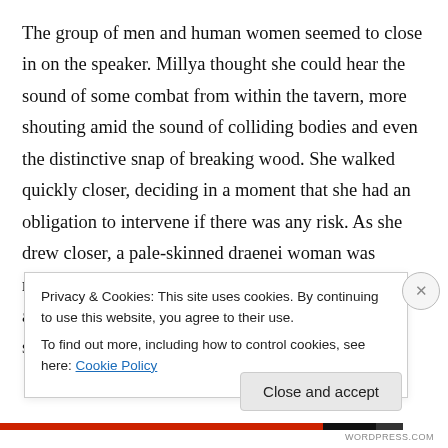The group of men and human women seemed to close in on the speaker. Millya thought she could hear the sound of some combat from within the tavern, more shouting amid the sound of colliding bodies and even the distinctive snap of breaking wood. She walked quickly closer, deciding in a moment that she had an obligation to intervene if there was any risk. As she drew closer, a pale-skinned draenei woman was revealed by the torch in front of the inn. Her would-be assailants seemed wary about pushing the matter, as she raised her fists and her lips pulled back
Privacy & Cookies: This site uses cookies. By continuing to use this website, you agree to their use.
To find out more, including how to control cookies, see here: Cookie Policy
Close and accept